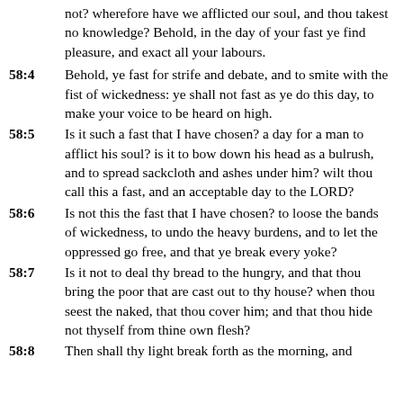not? wherefore have we afflicted our soul, and thou takest no knowledge? Behold, in the day of your fast ye find pleasure, and exact all your labours.
58:4  Behold, ye fast for strife and debate, and to smite with the fist of wickedness: ye shall not fast as ye do this day, to make your voice to be heard on high.
58:5  Is it such a fast that I have chosen? a day for a man to afflict his soul? is it to bow down his head as a bulrush, and to spread sackcloth and ashes under him? wilt thou call this a fast, and an acceptable day to the LORD?
58:6  Is not this the fast that I have chosen? to loose the bands of wickedness, to undo the heavy burdens, and to let the oppressed go free, and that ye break every yoke?
58:7  Is it not to deal thy bread to the hungry, and that thou bring the poor that are cast out to thy house? when thou seest the naked, that thou cover him; and that thou hide not thyself from thine own flesh?
58:8  Then shall thy light break forth as the morning, and